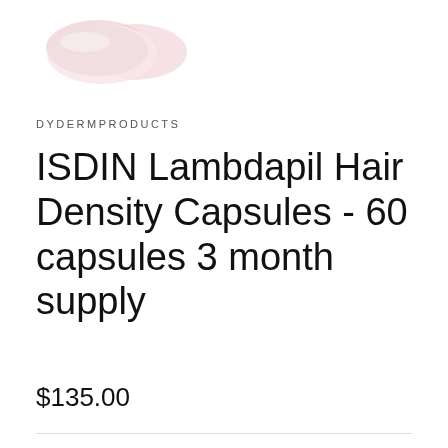[Figure (photo): Two pink/white softgel capsules partially visible at the top left of the page]
DYDERMPRODUCTS
ISDIN Lambdapil Hair Density Capsules - 60 capsules 3 month supply
$135.00
Add to cart